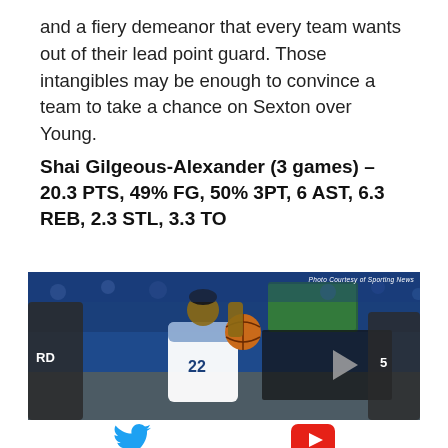and a fiery demeanor that every team wants out of their lead point guard. Those intangibles may be enough to convince a team to take a chance on Sexton over Young.
Shai Gilgeous-Alexander (3 games) – 20.3 PTS, 49% FG, 50% 3PT, 6 AST, 6.3 REB, 2.3 STL, 3.3 TO
[Figure (photo): Basketball player wearing Kentucky Wildcats jersey number 22 driving to the basket with the ball, crowd in background. Photo Courtesy of Sporting News.]
[Figure (other): Twitter bird icon (blue) and YouTube play button icon (red) social media share buttons]